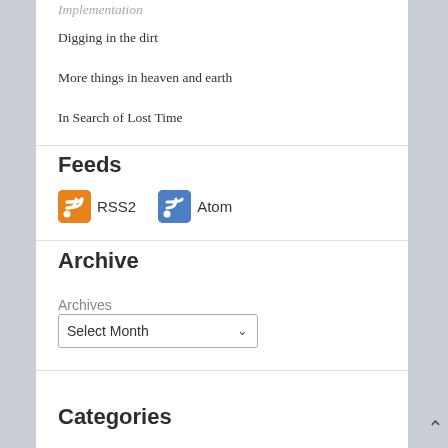Implementation
Digging in the dirt
More things in heaven and earth
In Search of Lost Time
Feeds
[Figure (infographic): RSS2 feed icon (orange square with wifi/RSS symbol) followed by RSS2 label, and Atom feed icon (blue square with wifi/RSS symbol) followed by Atom label]
Archive
Archives
Select Month
Categories